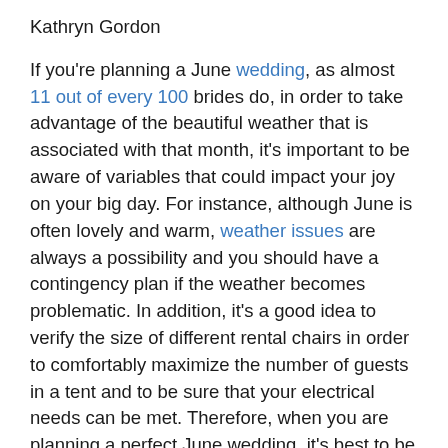Kathryn Gordon
If you're planning a June wedding, as almost 11 out of every 100 brides do, in order to take advantage of the beautiful weather that is associated with that month, it's important to be aware of variables that could impact your joy on your big day. For instance, although June is often lovely and warm, weather issues are always a possibility and you should have a contingency plan if the weather becomes problematic. In addition, it's a good idea to verify the size of different rental chairs in order to comfortably maximize the number of guests in a tent and to be sure that your electrical needs can be met. Therefore, when you are planning a perfect June wedding, it's best to be aware of the following tips for accessorizing your ideal venue.
Plan For Weather Issues
As you envision your wedding day, you are probably picturing a sunny day with a light breeze and an optimum temperature. While that is something that many June brides get, it is also possible that high winds or an unexpected rainstorm could ruin